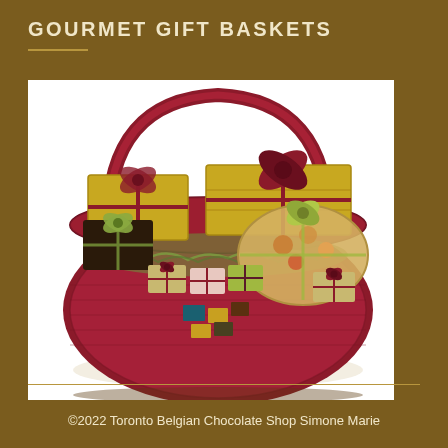GOURMET GIFT BASKETS
[Figure (photo): A large red wicker gift basket filled with multiple wrapped gift boxes adorned with ribbons in burgundy and sage green, chocolate boxes, and confections arranged inside]
©2022 Toronto Belgian Chocolate Shop Simone Marie